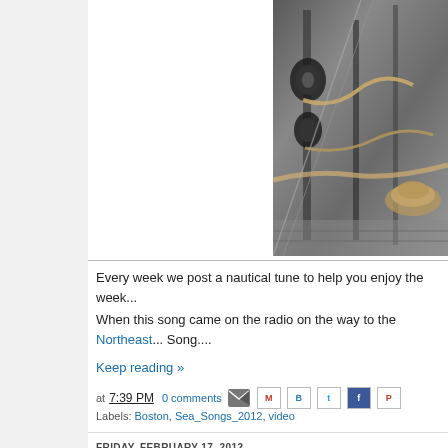[Figure (photo): Close-up photo of nautical sailing equipment including pulleys, ropes, and rigging on a boat deck]
Every week we post a nautical tune to help you enjoy the week...
When this song came on the radio on the way to the Northeast... Song....
Keep reading »
at 7:39 PM  0 comments
Labels: Boston, Sea_Songs_2012, video
FRIDAY, FEBRUARY 17, 2012
World on Water # 60
Tune in now for the latest edition of World on Water, Episo...